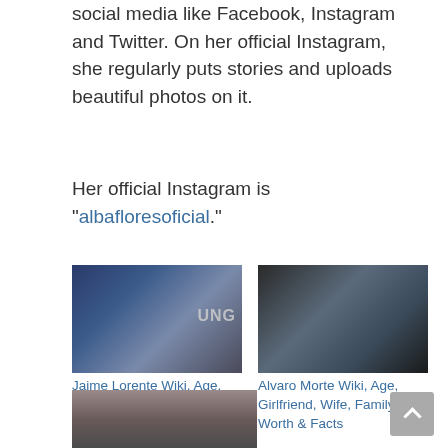social media like Facebook, Instagram and Twitter. On her official Instagram, she regularly puts stories and uploads beautiful photos on it.
Her official Instagram is "albafloresoficial."
[Figure (photo): Photo of Jaime Lorente in a navy suit with bow tie at an event with Samsung branding visible]
Jaime Lorente Wiki, Age, Height, Girlfriend, Wife, Career, Biography & Fact
[Figure (photo): Photo of Alvaro Morte with beard in a denim jacket against a dark background]
Alvaro Morte Wiki, Age, Girlfriend, Wife, Family, Net Worth & Facts
[Figure (photo): Photo of a woman with long brown hair against a light background]